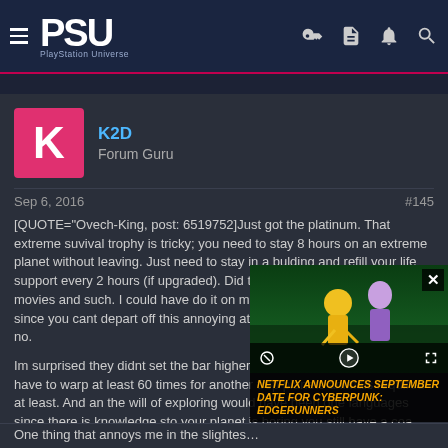PSU — PlayStation Universe
K2D
Forum Guru
Sep 6, 2016	#145
[QUOTE="Ovech-King, post: 6519752]Just got the platinum. That extreme suvival trophy is tricky; you need to stay 8 hours on an extreme planet without leaving. Just need to stay in a bulding and refill your life support every 2 hours (if upgraded). Did this friday while watching movies and such. I could have do it on multiples days with saves but since you cant depart off this annoying atmosphere with your ship, well no.

Im surprised they didnt set the bar higher for planet zoology. Since you have to warp at least 60 times for another trop... planets animals required at least. And an... the will of exploring would have been one... languages since there is knowledge sto... your planet is boring you still have a coa...
[Figure (screenshot): Video overlay showing Netflix Announces September Date for Cyberpunk: Edgerunners with animated characters and video player controls]
One thing that annoys me in the slightes...